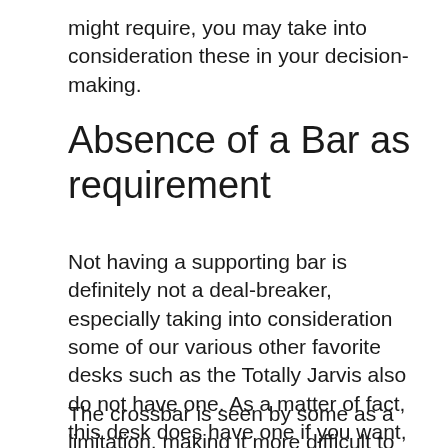might require, you may take into consideration these in your decision-making.
Absence of a Bar as requirement
Not having a supporting bar is definitely not a deal-breaker, especially taking into consideration some of our various other favorite desks such as the Totally Jarvis also do not have one. As a matter of fact, this desk does have one if you want, however it is a paid add-on (a lot more on this later too).
The crossbar is seen by some as a limitation, making it more difficult to put your legs